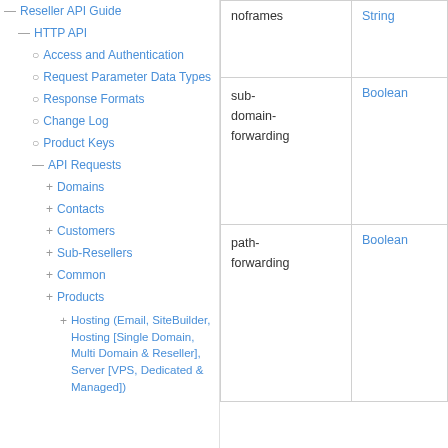— Reseller API Guide
— HTTP API
○ Access and Authentication
○ Request Parameter Data Types
○ Response Formats
○ Change Log
○ Product Keys
— API Requests
+ Domains
+ Contacts
+ Customers
+ Sub-Resellers
+ Common
+ Products
+ Hosting (Email, SiteBuilder, Hosting [Single Domain, Multi Domain & Reseller], Server [VPS, Dedicated & Managed])
| name | type |
| --- | --- |
| noframes | String |
| sub-domain-forwarding | Boolean |
| path-forwarding | Boolean |